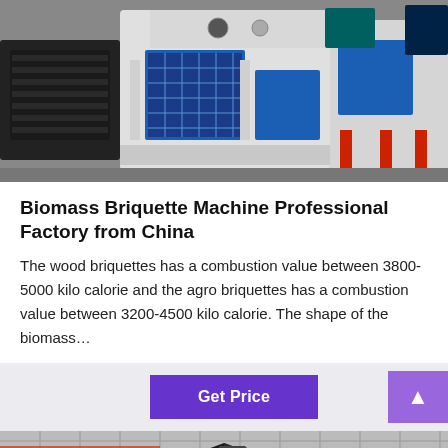[Figure (photo): Industrial biomass briquette machine with blue panel doors and electric motor, white body, photographed in a factory or warehouse setting.]
Biomass Briquette Machine Professional Factory from China
The wood briquettes has a combustion value between 3800-5000 kilo calorie and the agro briquettes has a combustion value between 3200-4500 kilo calorie. The shape of the biomass…
[Figure (photo): Close-up of a dark metal briquette product (pyramidal/square brick shape) on a metallic grid surface, with colored rods visible in the background.]